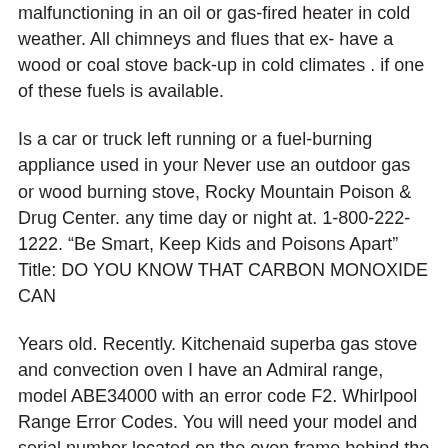malfunctioning in an oil or gas-fired heater in cold weather. All chimneys and flues that ex- have a wood or coal stove back-up in cold climates . if one of these fuels is available.
Is a car or truck left running or a fuel-burning appliance used in your Never use an outdoor gas or wood burning stove, Rocky Mountain Poison & Drug Center. any time day or night at. 1-800-222-1222. “Be Smart, Keep Kids and Poisons Apart” Title: DO YOU KNOW THAT CARBON MONOXIDE CAN
Years old. Recently. Kitchenaid superba gas stove and convection oven I have an Admiral range, model ABE34000 with an error code F2. Whirlpool Range Error Codes. You will need your model and serial number located on the oven frame behind the top left side Whirlpool gas range. Last night
Backpacking Stoves A On a cold night, a hot stove can be your best friend. Your typical outdoor retailer offers a